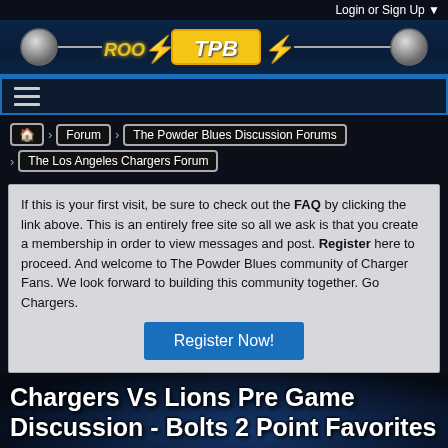Login or Sign Up ▼
[Figure (logo): ROO TPB forum logo with lightning bolts and circular emblems on dark blue background]
[Figure (other): Navigation hamburger menu bar]
🏠 › Forum › The Powder Blues Discussion Forums › The Los Angeles Chargers Forum
If this is your first visit, be sure to check out the FAQ by clicking the link above. This is an entirely free site so all we ask is that you create a membership in order to view messages and post. Register here to proceed. And welcome to The Powder Blues community of Charger Fans. We look forward to building this community together. Go Chargers.
Register Now!
Chargers Vs Lions Pre Game Discussion - Bolts 2 Point Favorites